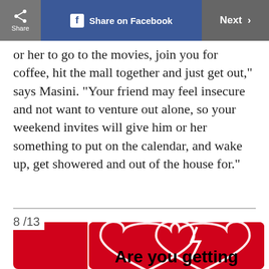Share | Share on Facebook | Next >
or her to go to the movies, join you for coffee, hit the mall together and just get out," says Masini. "Your friend may feel insecure and not want to venture out alone, so your weekend invites will give him or her something to put on the calendar, and wake up, get showered and out of the house for."
8 /13
[Figure (illustration): Red card with a broken heart outline illustration and bold text reading 'Are you getting']